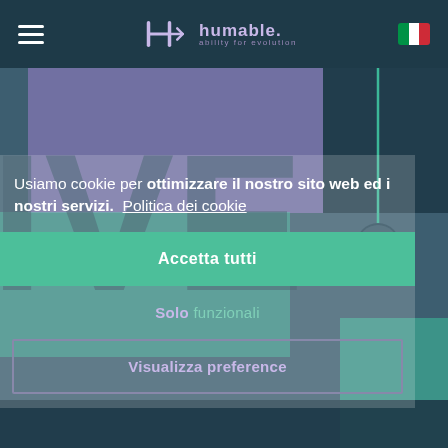humable. ability for evolution — navigation bar with hamburger menu and Italian flag
[Figure (screenshot): Background website hero section showing large partial text letters 'IVE' and 'CHA' in dark teal, with purple and teal colored background blocks]
Usiamo cookie per ottimizzare il nostro sito web ed i nostri servizi. Politica dei cookie
Accetta tutti
Solo funzionali
Visualizza preference